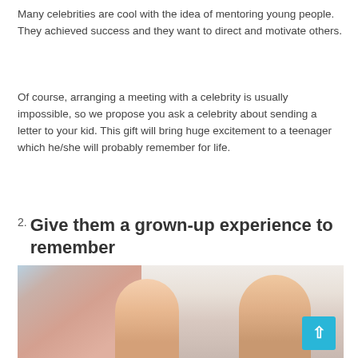Many celebrities are cool with the idea of mentoring young people. They achieved success and they want to direct and motivate others.
Of course, arranging a meeting with a celebrity is usually impossible, so we propose you ask a celebrity about sending a letter to your kid. This gift will bring huge excitement to a teenager which he/she will probably remember for life.
2. Give them a grown-up experience to remember
[Figure (photo): Two women/girls in a bright room with pink curtains on the left side, sitting together]